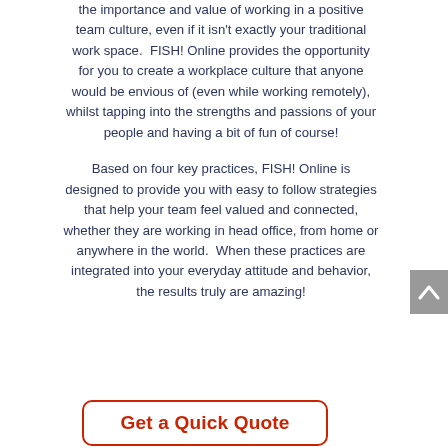the importance and value of working in a positive team culture, even if it isn't exactly your traditional work space.  FISH! Online provides the opportunity for you to create a workplace culture that anyone would be envious of (even while working remotely), whilst tapping into the strengths and passions of your people and having a bit of fun of course!
Based on four key practices, FISH! Online is designed to provide you with easy to follow strategies that help your team feel valued and connected, whether they are working in head office, from home or anywhere in the world.  When these practices are integrated into your everyday attitude and behavior, the results truly are amazing!
Get a Quick Quote